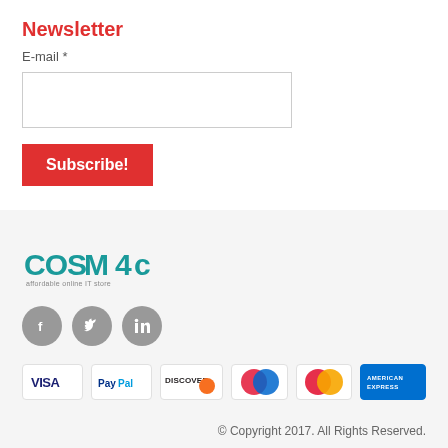Newsletter
E-mail *
Subscribe!
[Figure (logo): COSMAC logo - affordable online IT store]
[Figure (illustration): Social media icons: Facebook, Twitter, LinkedIn]
[Figure (illustration): Payment method icons: VISA, PayPal, DISCOVER, Maestro, MasterCard, American Express]
© Copyright 2017. All Rights Reserved.